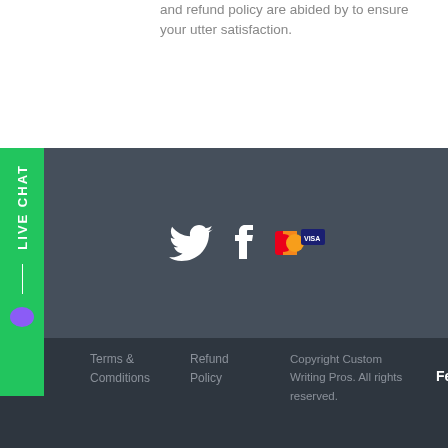and refund policy are abided by to ensure your utter satisfaction.
[Figure (logo): Live Chat sidebar with green background, white vertical text LIVE CHAT, a divider line, and a purple chat bubble icon]
[Figure (logo): Social media icons: Twitter bird (white) and Facebook F (white), plus payment card icons (Visa, Mastercard) in the dark grey middle section]
Terms & Comditions   Refund Policy   Copyright Custom Writing Pros. All rights reserved.   Feedback